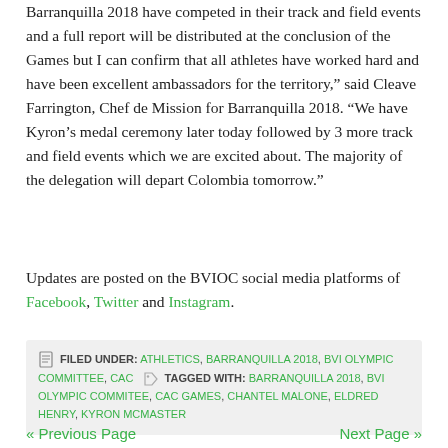Barranquilla 2018 have competed in their track and field events and a full report will be distributed at the conclusion of the Games but I can confirm that all athletes have worked hard and have been excellent ambassadors for the territory," said Cleave Farrington, Chef de Mission for Barranquilla 2018. “We have Kyron’s medal ceremony later today followed by 3 more track and field events which we are excited about. The majority of the delegation will depart Colombia tomorrow.”
Updates are posted on the BVIOC social media platforms of Facebook, Twitter and Instagram.
FILED UNDER: ATHLETICS, BARRANQUILLA 2018, BVI OLYMPIC COMMITTEE, CAC  TAGGED WITH: BARRANQUILLA 2018, BVI OLYMPIC COMMITEE, CAC GAMES, CHANTEL MALONE, ELDRED HENRY, KYRON MCMASTER
« Previous Page   Next Page »